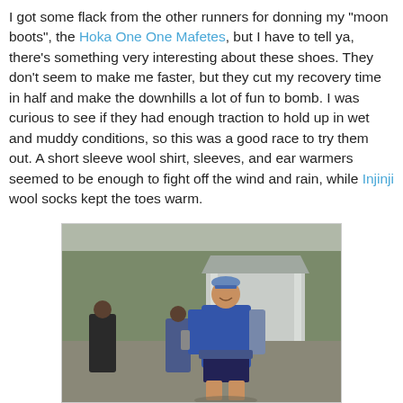I got some flack from the other runners for donning my "moon boots", the Hoka One One Mafetes, but I have to tell ya, there's something very interesting about these shoes. They don't seem to make me faster, but they cut my recovery time in half and make the downhills a lot of fun to bomb. I was curious to see if they had enough traction to hold up in wet and muddy conditions, so this was a good race to try them out. A short sleeve wool shirt, sleeves, and ear warmers seemed to be enough to fight off the wind and rain, while Injinji wool socks kept the toes warm.
[Figure (photo): A runner in a blue long-sleeve shirt, cap, and running shorts stands smiling on a trail or road. Behind him is a small white shed-like building and trees. Two other people are visible in the background on the left.]